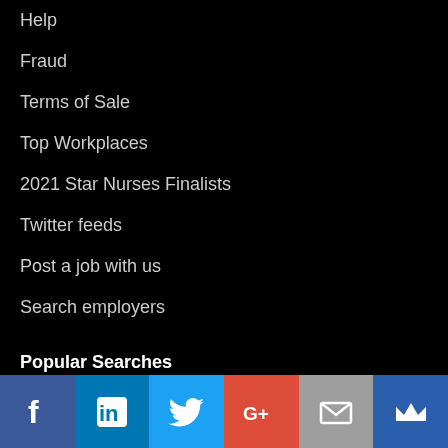Help
Fraud
Terms of Sale
Top Workplaces
2021 Star Nurses Finalists
Twitter feeds
Post a job with us
Search employers
Popular Searches
Jobs in Alexandria, Virginia
[Figure (infographic): Social media sharing bar with icons for Facebook, LinkedIn, Twitter, Google+, Email, and Crown/newsletter]